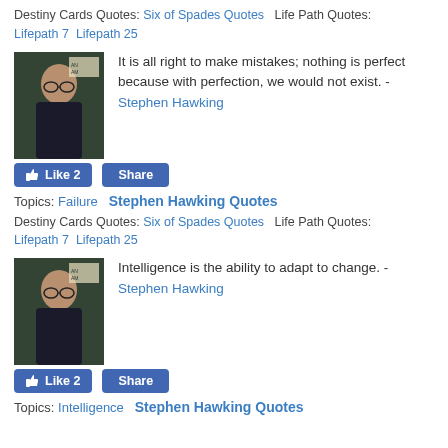Destiny Cards Quotes: Six of Spades Quotes   Life Path Quotes: Lifepath 7  Lifepath 25
[Figure (photo): Photo of Stephen Hawking seated, wearing glasses and dark clothing, with a partial background sign visible.]
It is all right to make mistakes; nothing is perfect because with perfection, we would not exist. - Stephen Hawking
Like 2  Share
Topics: Failure   Stephen Hawking Quotes
Destiny Cards Quotes: Six of Spades Quotes   Life Path Quotes: Lifepath 7  Lifepath 25
[Figure (photo): Photo of Stephen Hawking seated, wearing glasses and dark clothing, with a partial background sign visible.]
Intelligence is the ability to adapt to change. - Stephen Hawking
Like 2  Share
Topics: Intelligence   Stephen Hawking Quotes